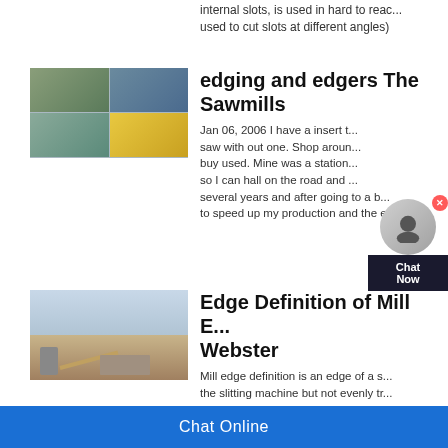internal slots, is used in hard to reach areas, used to cut slots at different angles)
[Figure (photo): Collage of industrial sawmill and processing facility images showing machinery and structures]
edging and edgers The Sawmills
Jan 06, 2006 I have a insert t... saw with out one. Shop aroun... buy used. Mine was a station... so I can hall on the road and ... several years and after going to a b... to speed up my production and the e...
[Figure (photo): Aerial or wide view of an open-air industrial mill or quarry site with machinery and sandy terrain under cloudy sky]
Edge Definition of Mill E... Webster
Mill edge definition is an edge of a s... the slitting machine but not evenly tr...
Chat Online